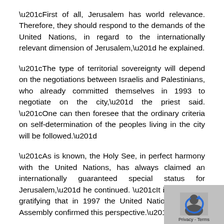“First of all, Jerusalem has world relevance. Therefore, they should respond to the demands of the United Nations, in regard to the internationally relevant dimension of Jerusalem,” he explained.
“The type of territorial sovereignty will depend on the negotiations between Israelis and Palestinians, who already committed themselves in 1993 to negotiate on the city,” the priest said. “One can then foresee that the ordinary criteria on self-determination of the peoples living in the city will be followed.”
“As is known, the Holy See, in perfect harmony with the United Nations, has always claimed an internationally guaranteed special status for Jerusalem,” he continued. “It is especially gratifying that in 1997 the United Nations General Assembly confirmed this perspective.”
Thanks to this law, the peace negotiations will be able to guarantee the rights of believers of the three reli... Father Jäger emphasized.